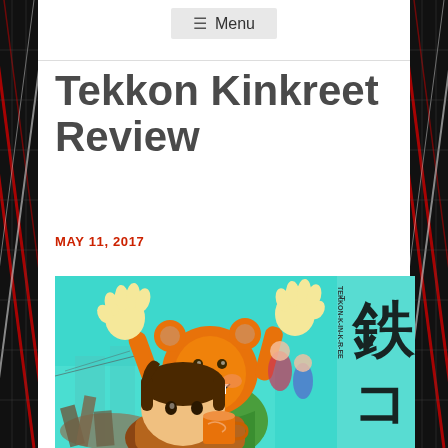☰ Menu
Tekkon Kinkreet Review
MAY 11, 2017
[Figure (illustration): Anime illustration cover art for Tekkon Kinkreet showing two characters on a teal/cyan background. Left character wears an orange bear/tiger hat with arms raised up, smiling widely. Front character has brown hair and holds an orange cup. Japanese kanji text on right side reads 鉄コン (partial). Text 'TEKKONK-IN-K-R-EE' visible vertically on right edge.]